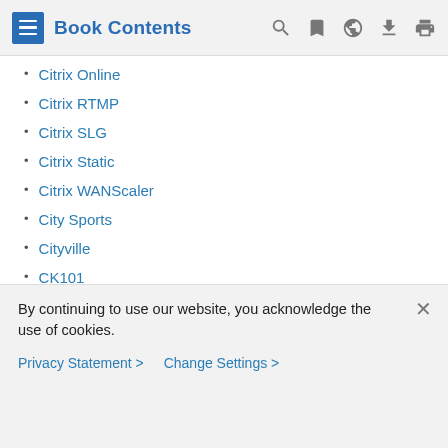Book Contents
Citrix Online
Citrix RTMP
Citrix SLG
Citrix Static
Citrix WANScaler
City Sports
Cityville
CK101
CL1
Clarizen
Clash of Clans
Clash Royale
By continuing to use our website, you acknowledge the use of cookies.
Privacy Statement > Change Settings >